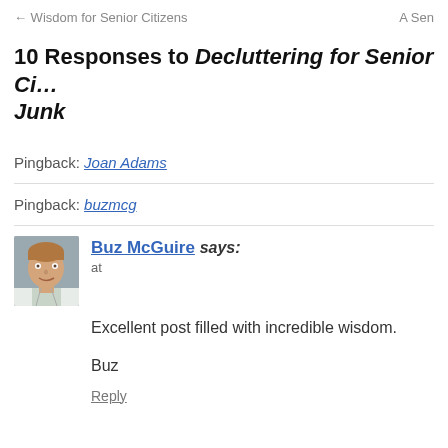← Wisdom for Senior Citizens    A Sen
10 Responses to Decluttering for Senior Citizens: Junk
Pingback: Joan Adams
Pingback: buzmcg
Buz McGuire says: at
Excellent post filled with incredible wisdom.
Buz
Reply